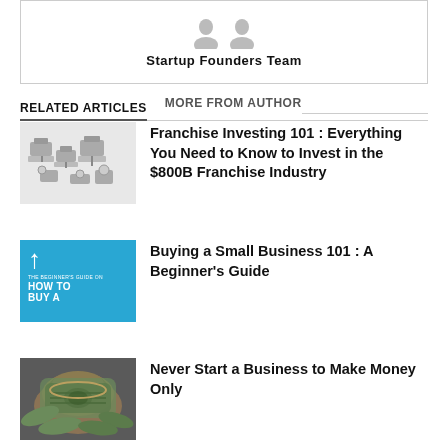[Figure (illustration): Two person avatars representing Startup Founders Team]
Startup Founders Team
RELATED ARTICLES   MORE FROM AUTHOR
[Figure (photo): Franchise-related mechanical parts thumbnail image]
Franchise Investing 101 : Everything You Need to Know to Invest in the $800B Franchise Industry
[Figure (illustration): Blue book cover: How to Buy A - Beginner's Guide]
Buying a Small Business 101 : A Beginner's Guide
[Figure (photo): Rolled up cash / money photo]
Never Start a Business to Make Money Only